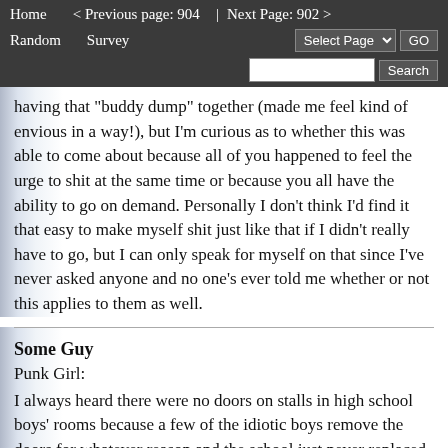Home   < Previous page: 904  |  Next Page: 902 >   Random   Survey   Select Page   GO   Search
having that "buddy dump" together (made me feel kind of envious in a way!), but I'm curious as to whether this was able to come about because all of you happened to feel the urge to shit at the same time or because you all have the ability to go on demand. Personally I don't think I'd find it that easy to make myself shit just like that if I didn't really have to go, but I can only speak for myself on that since I've never asked anyone and no one's ever told me whether or not this applies to them as well.
Some Guy
Punk Girl:
I always heard there were no doors on stalls in high school boys' rooms because a few of the idiotic boys remove the doors for whatever reason and the school just never replaced them.

Interesting that you don't mind. I don't think I would be